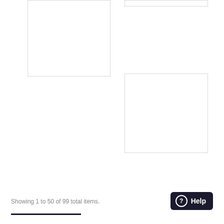[Figure (other): Empty white card box top-left, partially cropped at top]
[Figure (other): Empty white card box top-right, partially cropped at top]
[Figure (other): Empty white card box right middle area]
Showing 1 to 50 of 99 total items.
[Figure (other): Help button with question mark icon]